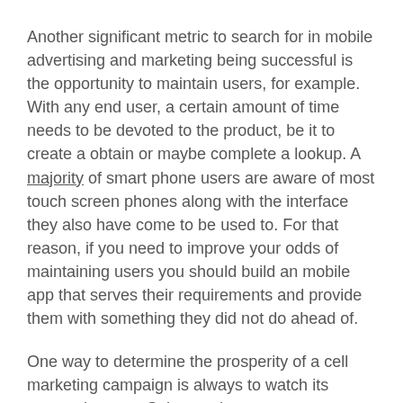Another significant metric to search for in mobile advertising and marketing being successful is the opportunity to maintain users, for example. With any end user, a certain amount of time needs to be devoted to the product, be it to create a obtain or maybe complete a lookup. A majority of smart phone users are aware of most touch screen phones along with the interface they also have come to be used to. For that reason, if you need to improve your odds of maintaining users you should build an mobile app that serves their requirements and provide them with something they did not do ahead of.
One way to determine the prosperity of a cell marketing campaign is always to watch its conversion rate. Sales are how many consumers that have navigated through the iphone app and purchased an item or membership. If possible, conversions need to go over completely of individuals and that is easily accomplished assuming you have an excellent iphone